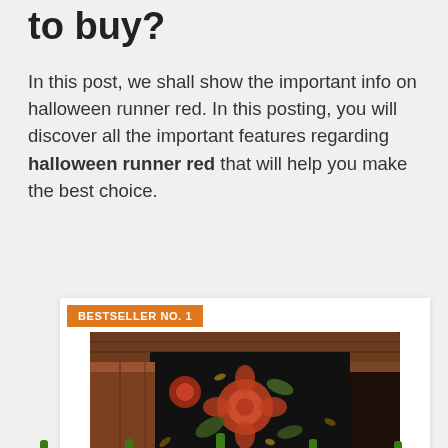to buy?
In this post, we shall show the important info on halloween runner red. In this posting, you will discover all the important features regarding halloween runner red that will help you make the best choice.
[Figure (photo): Product card with orange 'BESTSELLER NO. 1' badge and photo of a black floral Halloween table runner on a dark wood table, with a row of carved jack-o-lantern pumpkin emoji decorations along the bottom.]